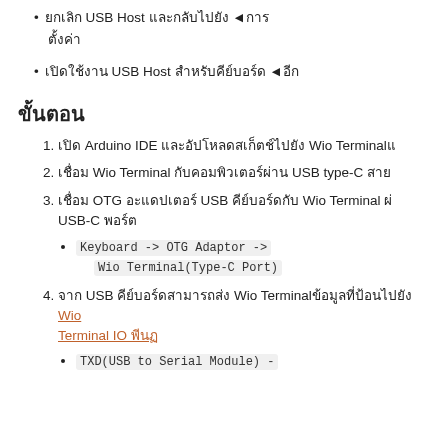ยกเลิก USB Host และกลับไปยัง ◄ การ
เปิดใช้งาน USB Host สำหรับคีย์บอร์ด ◄ อีก
ขั้นตอน
1. เปิด Arduino IDE และอัปโหลดสเก็ตช์ไปยัง Wio Terminal
2. เชื่อม Wio Terminal กับคอมพิวเตอร์ผ่าน USB type-C สาย
3. เชื่อม OTG อะแดปเตอร์ USB คีย์บอร์ดกับ Wio Terminal ผ่าน USB-C พอร์ต
Keyboard -> OTG Adaptor -> Wio Terminal(Type-C Port)
4. จาก USB คีย์บอร์ดสามารถส่ง Wio Terminalข้อมูลที่ป้อนไปยัง Wio Terminal IO พีน
TXD(USB to Serial Module) -